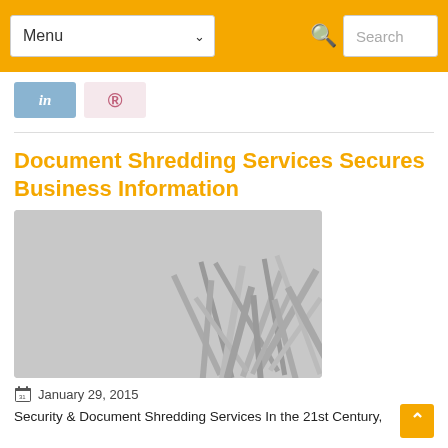Menu | Search
[Figure (logo): LinkedIn share button (blue)]
[Figure (logo): Pinterest share button (pink)]
Document Shredding Services Secures Business Information
[Figure (photo): Pile of shredded paper strips, black and white photo]
January 29, 2015
Security & Document Shredding Services In the 21st Century,